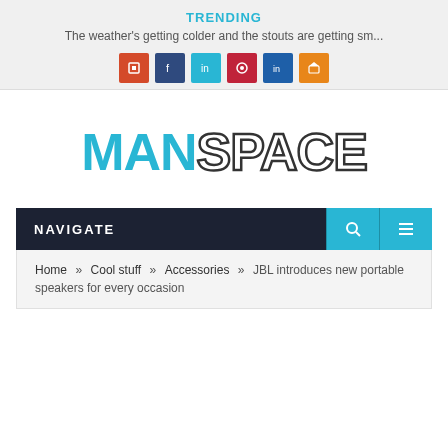TRENDING
The weather's getting colder and the stouts are getting sm...
[Figure (logo): Row of six social media icon buttons: red, navy, cyan, crimson, blue, orange]
MANSPACE
NAVIGATE
Home » Cool stuff » Accessories » JBL introduces new portable speakers for every occasion